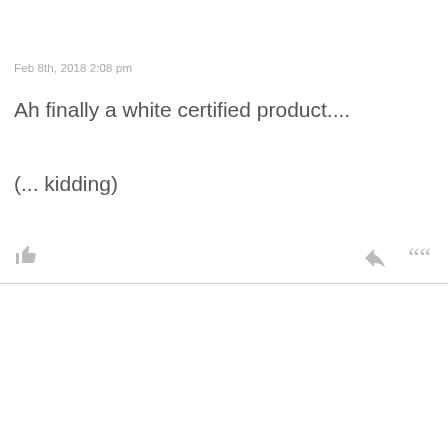Feb 8th, 2018 2:08 pm
Ah finally a white certified product....
(... kidding)